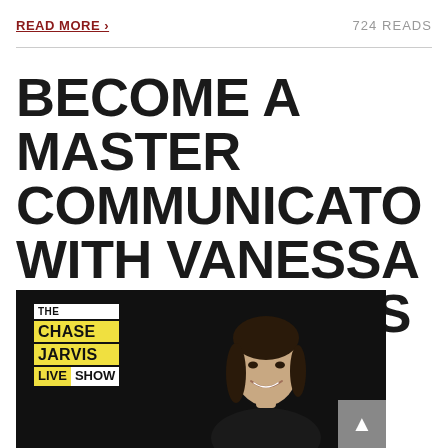READ MORE › | 724 READS
BECOME A MASTER COMMUNICATO WITH VANESSA VAN EDWARDS
[Figure (photo): Black and white thumbnail for The Chase Jarvis Live Show featuring Vanessa Van Edwards smiling, with the show logo on the left in yellow and white.]